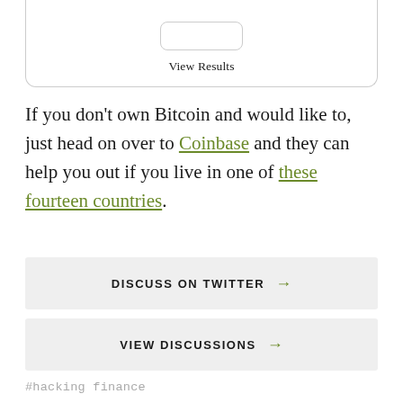[Figure (other): Partial view of a card widget with a placeholder button and 'View Results' link at the bottom]
If you don't own Bitcoin and would like to, just head on over to Coinbase and they can help you out if you live in one of these fourteen countries.
DISCUSS ON TWITTER →
VIEW DISCUSSIONS →
#hacking finance